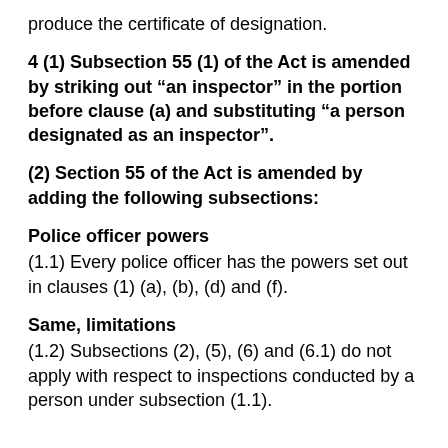produce the certificate of designation.
4 (1) Subsection 55 (1) of the Act is amended by striking out “an inspector” in the portion before clause (a) and substituting “a person designated as an inspector”.
(2) Section 55 of the Act is amended by adding the following subsections:
Police officer powers
(1.1) Every police officer has the powers set out in clauses (1) (a), (b), (d) and (f).
Same, limitations
(1.2) Subsections (2), (5), (6) and (6.1) do not apply with respect to inspections conducted by a person under subsection (1.1).